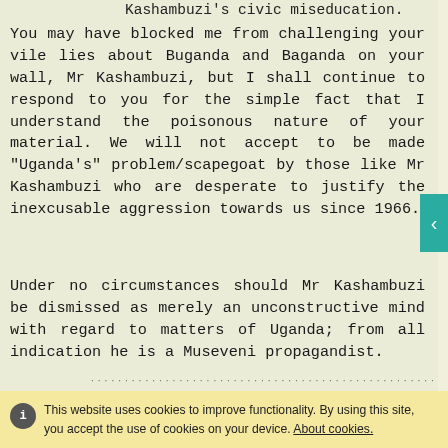Kashambuzi's civic miseducation.
You may have blocked me from challenging your vile lies about Buganda and Baganda on your wall, Mr Kashambuzi, but I shall continue to respond to you for the simple fact that I understand the poisonous nature of your material. We will not accept to be made "Uganda's" problem/scapegoat by those like Mr Kashambuzi who are desperate to justify the inexcusable aggression towards us since 1966.
Under no circumstances should Mr Kashambuzi be dismissed as merely an unconstructive mind with regard to matters of Uganda; from all indication he is a Museveni propagandist.
This website uses cookies to improve functionality. By using this site, you accept the use of cookies on your device. About cookies.